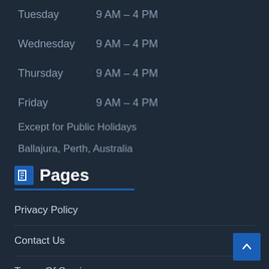Tuesday   9 AM – 4 PM
Wednesday   9 AM – 4 PM
Thursday   9 AM – 4 PM
Friday   9 AM – 4 PM
Except for Public Holidays
Ballajura, Perth, Australia
Pages
Privacy Policy
Contact Us
Terms Of Service
SEO Content